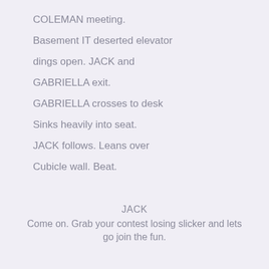COLEMAN meeting.
Basement IT deserted elevator
dings open. JACK and
GABRIELLA exit.
GABRIELLA crosses to desk
Sinks heavily into seat.
JACK follows. Leans over
Cubicle wall. Beat.
JACK
Come on. Grab your contest losing slicker and lets go join the fun.